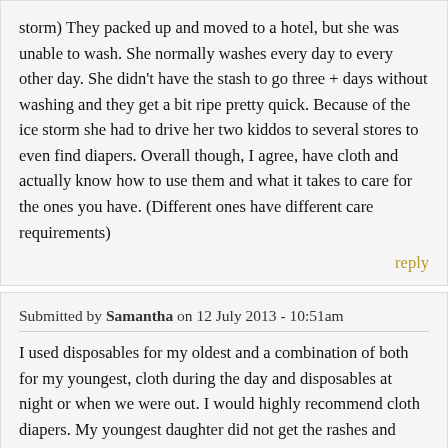storm) They packed up and moved to a hotel, but she was unable to wash. She normally washes every day to every other day. She didn't have the stash to go three + days without washing and they get a bit ripe pretty quick. Because of the ice storm she had to drive her two kiddos to several stores to even find diapers. Overall though, I agree, have cloth and actually know how to use them and what it takes to care for the ones you have. (Different ones have different care requirements)
reply
Submitted by Samantha on 12 July 2013 - 10:51am
I used disposables for my oldest and a combination of both for my youngest, cloth during the day and disposables at night or when we were out. I would highly recommend cloth diapers. My youngest daughter did not get the rashes and such with the cloth that my oldest got